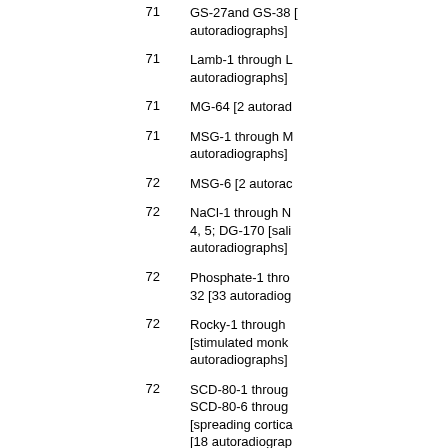71 — GS-27and GS-38 [autoradiographs]
71 — Lamb-1 through L autoradiographs]
71 — MG-64 [2 autorad
71 — MSG-1 through M autoradiographs]
72 — MSG-6 [2 autorac
72 — NaCl-1 through N 4, 5; DG-170 [sali autoradiographs]
72 — Phosphate-1 thro 32 [33 autoradiog
72 — Rocky-1 through [stimulated monk autoradiographs]
72 — SCD-80-1 throug SCD-80-6 throug [spreading cortica [18 autoradiograp
72 — SCD-V-1-0; SCD- SCD-V-10; SCD-9 31 through SCD-